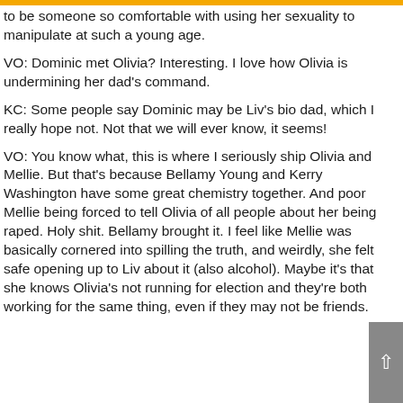to be someone so comfortable with using her sexuality to manipulate at such a young age.
VO: Dominic met Olivia? Interesting. I love how Olivia is undermining her dad's command.
KC: Some people say Dominic may be Liv's bio dad, which I really hope not. Not that we will ever know, it seems!
VO: You know what, this is where I seriously ship Olivia and Mellie. But that's because Bellamy Young and Kerry Washington have some great chemistry together. And poor Mellie being forced to tell Olivia of all people about her being raped. Holy shit. Bellamy brought it. I feel like Mellie was basically cornered into spilling the truth, and weirdly, she felt safe opening up to Liv about it (also alcohol). Maybe it's that she knows Olivia's not running for election and they're both working for the same thing, even if they may not be friends.